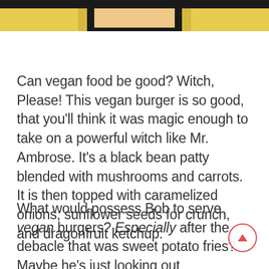[Figure (illustration): Cropped anime-style illustration showing the top of a character's head with blonde hair against a dark background]
Can vegan food be good? Witch, Please! This vegan burger is so good, that you'll think it was magic enough to take on a powerful witch like Mr. Ambrose. It's a black bean patty blended with mushrooms and carrots. It is then topped with caramelized onions, sunflower seeds for crunch, and dragonfruit ketchup.
What would possess Bob to serve vegan burgers? Especially after the debacle that was sweet potato fries? Maybe he's just looking out for his best friend Todd? Is he t A...